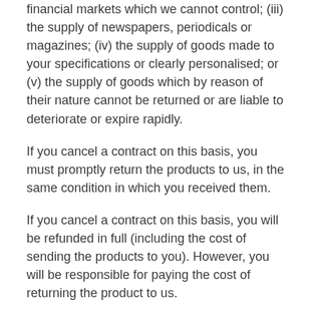financial markets which we cannot control; (iii) the supply of newspapers, periodicals or magazines; (iv) the supply of goods made to your specifications or clearly personalised; or (v) the supply of goods which by reason of their nature cannot be returned or are liable to deteriorate or expire rapidly.
If you cancel a contract on this basis, you must promptly return the products to us, in the same condition in which you received them.
If you cancel a contract on this basis, you will be refunded in full (including the cost of sending the products to you). However, you will be responsible for paying the cost of returning the product to us.
If you cancel a contract on this basis and you do not return the products to us, we may recover the products and charge you for the costs we incur in doing so. Similarly, if you return the products at our expense, we